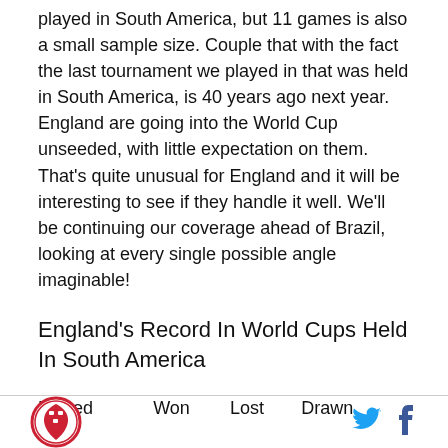played in South America, but 11 games is also a small sample size. Couple that with the fact the last tournament we played in that was held in South America, is 40 years ago next year. England are going into the World Cup unseeded, with little expectation on them. That's quite unusual for England and it will be interesting to see if they handle it well. We'll be continuing our coverage ahead of Brazil, looking at every single possible angle imaginable!
England's Record In World Cups Held In South America
| Played | Won | Lost | Drawn |
| --- | --- | --- | --- |
[logo] [twitter] [facebook]